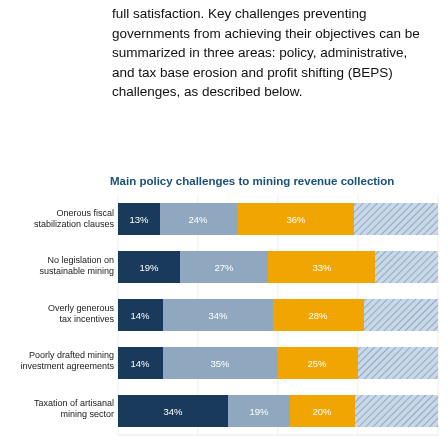full satisfaction. Key challenges preventing governments from achieving their objectives can be summarized in three areas: policy, administrative, and tax base erosion and profit shifting (BEPS) challenges, as described below.
[Figure (stacked-bar-chart): Main policy challenges to mining revenue collection]